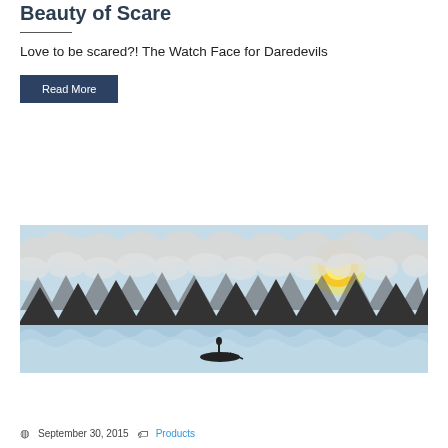Beauty of Scare
Love to be scared?! The Watch Face for Daredevils
Read More
[Figure (illustration): Stylized illustration of dark mountain peaks with clouds above and waves below, a glowing sun on the right, and a small silhouette figure in a boat on the water]
September 30, 2015  Products